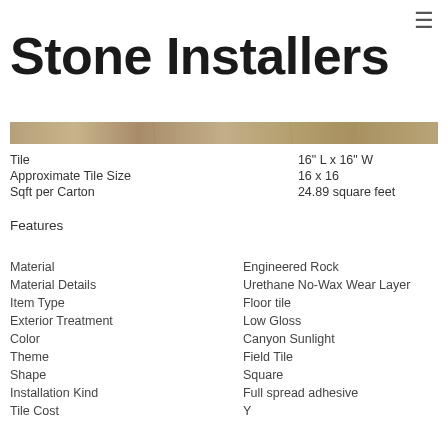≡
Stone Installers
[Figure (photo): Horizontal strip showing a stone/tile flooring texture in tan and brown tones]
| Tile | 16" L x 16" W |
| Approximate Tile Size | 16 x 16 |
| Sqft per Carton | 24.89 square feet |
Features
| Material | Engineered Rock |
| Material Details | Urethane No-Wax Wear Layer |
| Item Type | Floor tile |
| Exterior Treatment | Low Gloss |
| Color | Canyon Sunlight |
| Theme | Field Tile |
| Shape | Square |
| Installation Kind | Full spread adhesive |
| Tile Cost | Y |